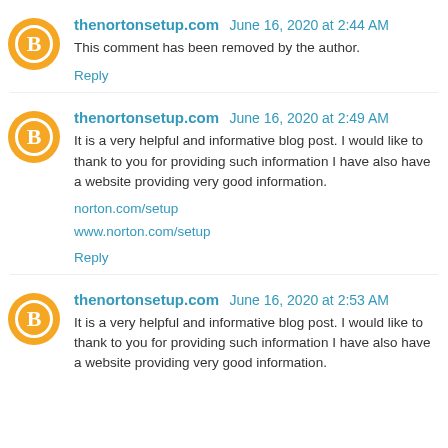thenortonsetup.com June 16, 2020 at 2:44 AM
This comment has been removed by the author.
Reply
thenortonsetup.com June 16, 2020 at 2:49 AM
It is a very helpful and informative blog post. I would like to thank to you for providing such information I have also have a website providing very good information.
norton.com/setup
www.norton.com/setup
Reply
thenortonsetup.com June 16, 2020 at 2:53 AM
It is a very helpful and informative blog post. I would like to thank to you for providing such information I have also have a website providing very good information.